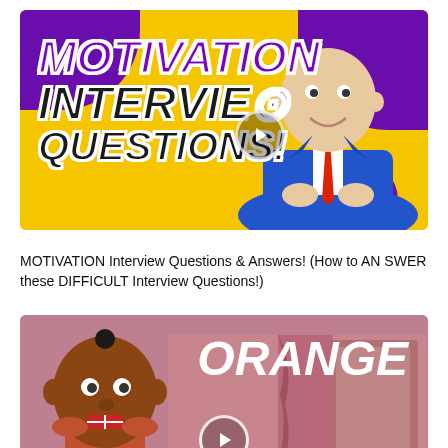[Figure (screenshot): YouTube video thumbnail: yellow background with purple splashes, bold italic text reading MOTIVATION INTERVIEW QUESTIONS!, a man in a blue suit with red tie, and a play button overlay]
MOTIVATION Interview Questions & Answers! (How to ANSWER these DIFFICULT Interview Questions!)
[Figure (screenshot): YouTube video thumbnail: pinkish-mauve background with a cartoon animated character on the left and the word ORANGE in large white italic text on the right, with a play button overlay at the bottom center]